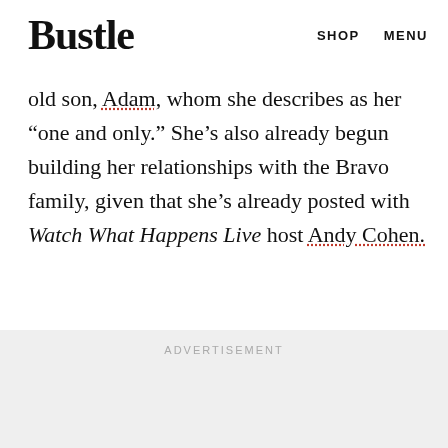Bustle | SHOP MENU
and even a recent trip to the Cannes Film Festival, plenty of content featuring her 10-year-old son, Adam, whom she describes as her “one and only.” She’s also already begun building her relationships with the Bravo family, given that she’s already posted with Watch What Happens Live host Andy Cohen.
ADVERTISEMENT